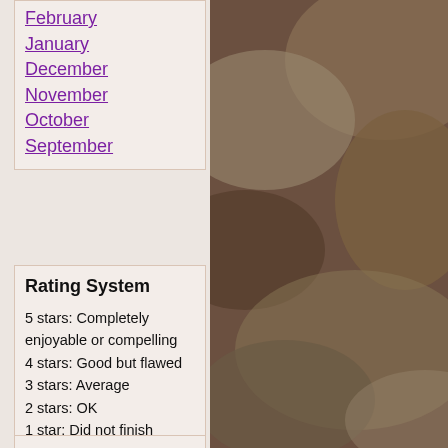February
January
December
November
October
September
Rating System
5 stars: Completely enjoyable or compelling
4 stars: Good but flawed
3 stars: Average
2 stars: OK
1 star: Did not finish
Reading Challenges
Canadian Book Challenge: 2022-2023
Beat the Backlist 2022